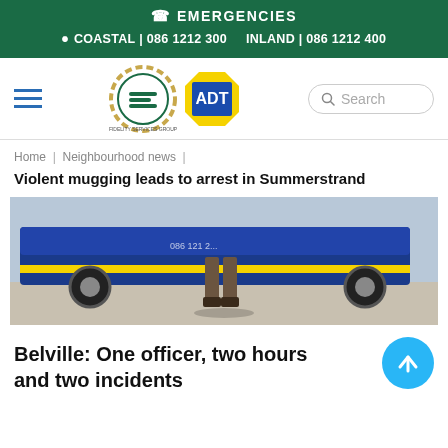EMERGENCIES
COASTAL | 086 1212 300   INLAND | 086 1212 400
[Figure (logo): Navigation bar with hamburger menu, Fidelity Services Group logo, ADT logo, and search box]
Home | Neighbourhood news |
Violent mugging leads to arrest in Summerstrand
[Figure (photo): Photo of a person standing in front of an ADT security vehicle, viewed from the waist down]
Belville: One officer, two hours and two incidents